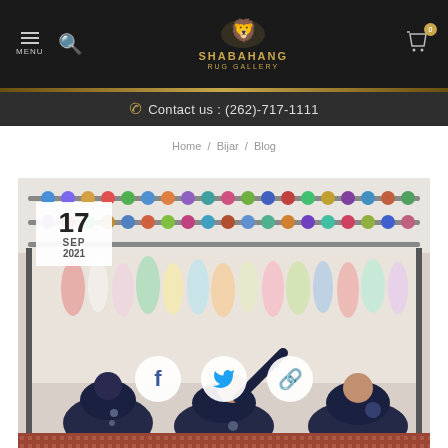SHABAHANG RUG GALLERY — MENU, Search, Cart (0)
Contact us : (262)-717-1111
Home / Bijar / Blog
[Figure (photo): Three weavers sitting at a large rug loom with colorful yarn bobbins and skeins displayed. Date overlay shows 17 SEP 2021. Social sharing icons (Facebook, Twitter, link) appear over the image.]